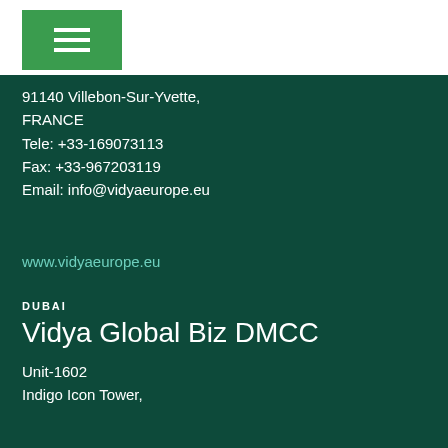[Figure (other): Green hamburger menu button icon on white background]
91140 Villebon-Sur-Yvette,
FRANCE
Tele: +33-169073113
Fax: +33-967203119
Email: info@vidyaeurope.eu
www.vidyaeurope.eu
DUBAI
Vidya Global Biz DMCC
Unit-1602
Indigo Icon Tower,